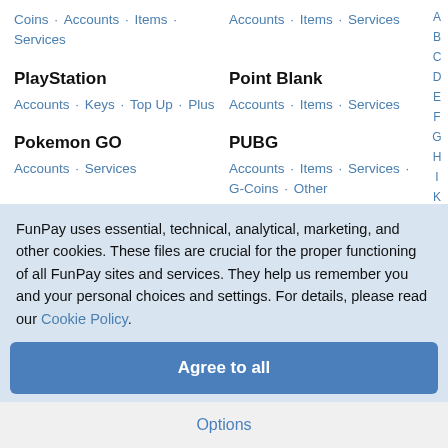Coins · Accounts · Items · Services
Accounts · Items · Services
PlayStation
Accounts · Keys · Top Up · Plus
Point Blank
Accounts · Items · Services
Pokemon GO
Accounts · Services
PUBG
Accounts · Items · Services · G-Coins · Other
PUBG Mobile
PUBG: New State
FunPay uses essential, technical, analytical, marketing, and other cookies. These files are crucial for the proper functioning of all FunPay sites and services. They help us remember you and your personal choices and settings. For details, please read our Cookie Policy.
Agree to all
Options